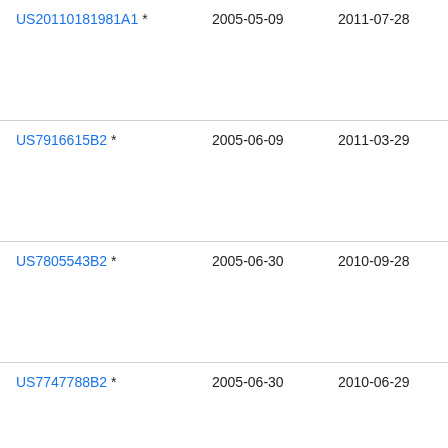| Patent | Filing Date | Publication Date | Assignee |
| --- | --- | --- | --- |
| US20110181981A1 * | 2005-05-09 | 2011-07-28 | Sea
Lim
Con
The
Del |
| US7916615B2 * | 2005-06-09 | 2011-03-29 | The
Sci
Llc |
| US7805543B2 * | 2005-06-30 | 2010-09-28 | Inte |
| US7747788B2 * | 2005-06-30 | 2010-06-29 | Inte |